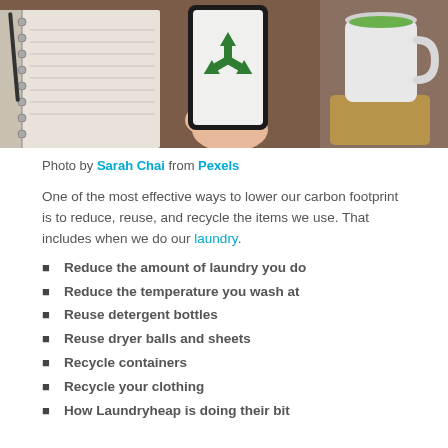[Figure (photo): Photo of a person holding a smartphone displaying a green recycling symbol, with a spiral notebook and a white mug on a wooden surface in the background.]
Photo by Sarah Chai from Pexels
One of the most effective ways to lower our carbon footprint is to reduce, reuse, and recycle the items we use. That includes when we do our laundry.
Reduce the amount of laundry you do
Reduce the temperature you wash at
Reuse detergent bottles
Reuse dryer balls and sheets
Recycle containers
Recycle your clothing
How Laundryheap is doing their bit